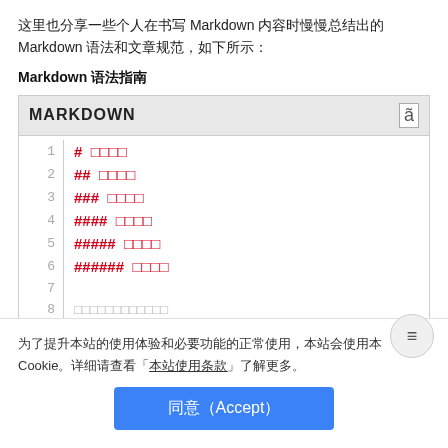这里也分享一些个人在书写 Markdown 内容时慢慢总结出的 Markdown 语法和文章规范，如下所示：
Markdown 语法指南
[Figure (screenshot): A code editor UI showing Markdown heading syntax lines 1-8, with line numbers on the left and red-colored markdown syntax (# symbols followed by CJK placeholder boxes)]
为了提升本站的使用体验和必要功能的正常使用，本站会使用本 Cookie。详细请查看「本站使用条款」了解更多。
同意（Accept）